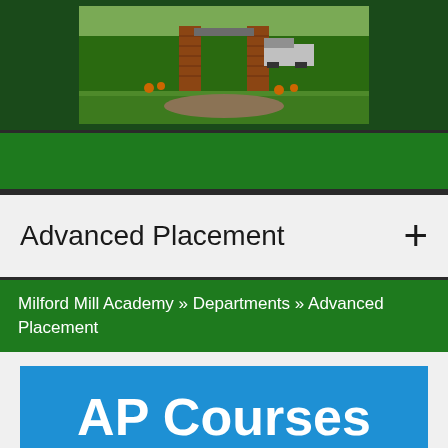[Figure (photo): Outdoor photo of brick entrance/pillars at Milford Mill Academy with green lawn and trees]
Advanced Placement
Milford Mill Academy » Departments » Advanced Placement
AP Courses and Exams
AP African American Studies (Pilot)